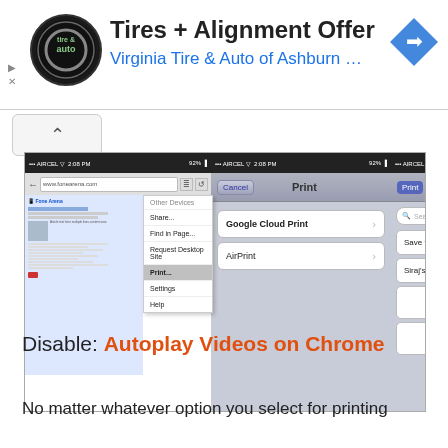[Figure (screenshot): Advertisement banner for Virginia Tire & Auto of Ashburn showing logo, title 'Tires + Alignment Offer', subtitle 'Virginia Tire & Auto of Ashburn ...' and a blue navigation arrow icon]
[Figure (screenshot): Three smartphone screenshots showing Chrome browser print options: left panel shows browser menu with 'Print...' highlighted, middle panel shows 'Print' dialog with Google Cloud Print and AirPrint options, right panel shows 'Select Printer' with Save to Google Drive and Siraj's iPhone options]
Disable: Autoplay Videos on Chrome
No matter whatever option you select for printing